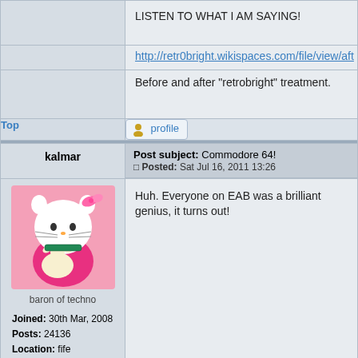LISTEN TO WHAT I AM SAYING!
http://retr0bright.wikispaces.com/file/view/aft
Before and after "retrobright" treatment.
Top
profile
kalmar
Post subject: Commodore 64!
Posted: Sat Jul 16, 2011 13:26
Huh. Everyone on EAB was a brilliant genius, it turns out!
baron of techno
Joined: 30th Mar, 2008
Posts: 24136
Location: fife
Top
profile
Craig
Post subject: Re: Commodore 64!
Posted: Sat Jul 16, 2011 16:20